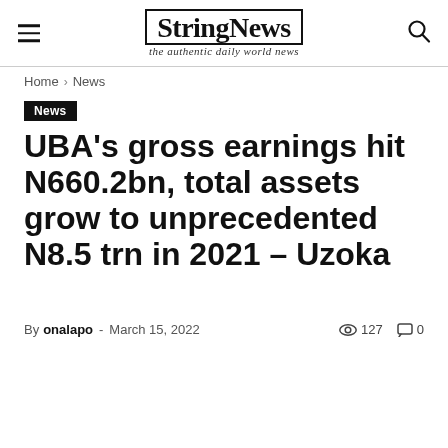StringNews — the authentic daily world news
Home › News
News
UBA's gross earnings hit N660.2bn, total assets grow to unprecedented N8.5 trn in 2021 – Uzoka
By onalapo - March 15, 2022 · 127 views · 0 comments